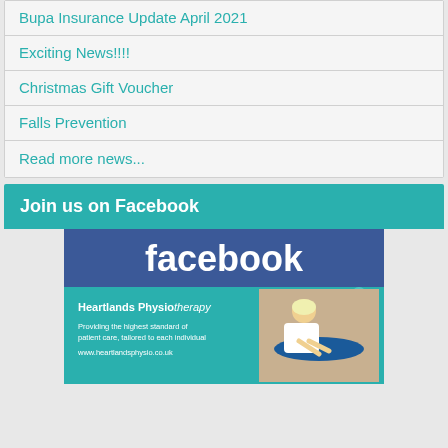Bupa Insurance Update April 2021
Exciting News!!!!
Christmas Gift Voucher
Falls Prevention
Read more news...
Join us on Facebook
[Figure (screenshot): Facebook page banner for Heartlands Physiotherapy showing the Facebook logo in white on blue background, and a Heartlands Physiotherapy branded image with teal background, logo, tagline 'Providing the highest standard of patient care, tailored to each individual', website www.heartlandsphysio.co.uk, and a photo of a physiotherapist treating a patient.]